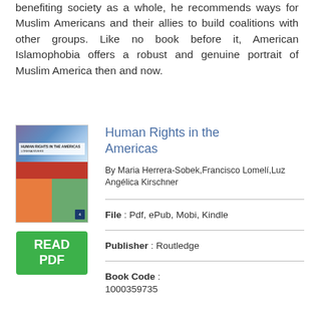benefiting society as a whole, he recommends ways for Muslim Americans and their allies to build coalitions with other groups. Like no book before it, American Islamophobia offers a robust and genuine portrait of Muslim America then and now.
Human Rights in the Americas
By Maria Herrera-Sobek,Francisco Lomelí,Luz Angélica Kirschner
[Figure (other): Book cover thumbnail for Human Rights in the Americas with colorful abstract design]
[Figure (other): Green READ PDF button]
File : Pdf, ePub, Mobi, Kindle
Publisher : Routledge
Book Code : 1000359735